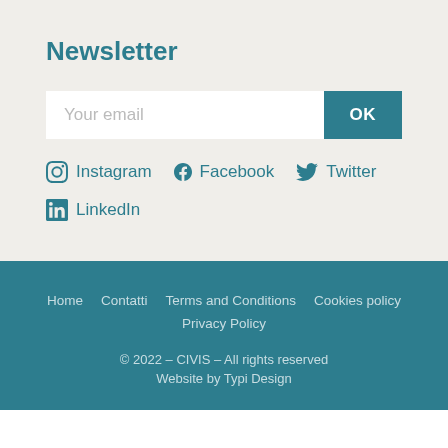Newsletter
[Figure (other): Email subscription input field with Your email placeholder and OK button]
Instagram
Facebook
Twitter
LinkedIn
Home   Contatti   Terms and Conditions   Cookies policy   Privacy Policy
© 2022 – CIVIS – All rights reserved
Website by Typi Design